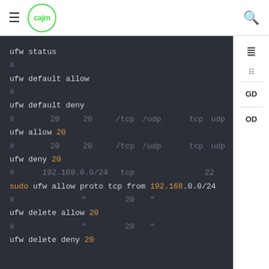cajm (logo) | hamburger menu | search icon
Sidebar icons: list view, table view, GD, OD
ufw status
# xxxxxxxx
ufw default allow
# xxxxxxxx
ufw default deny
# xxxx20xxx20xxx/tcpx/udpxxx tcpxudpxxxx
ufw allow 20
# xxxx20xxx20xxx/tcpx/udpxxx tcpxudpxxxx
ufw deny 20
# xxx192.168.0.0/24x tcpxxxxxxxxxxxxxxx22xxx
sudo ufw allow proto tcp from 192.168.0.0/24
# xxxxxxxxx"xxxxx20xxx"xxx
ufw delete allow 20
# xxxxxxxxx"xxxxx20xxx"xxx
ufw delete deny 20